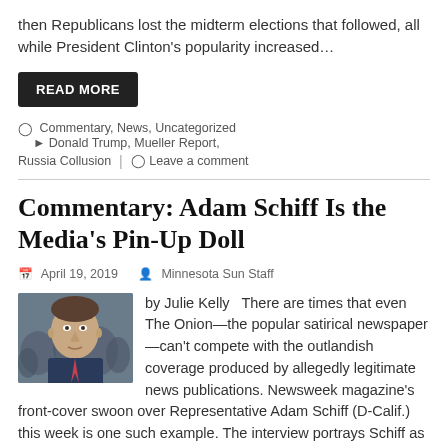then Republicans lost the midterm elections that followed, all while President Clinton's popularity increased…
READ MORE
Commentary, News, Uncategorized   Donald Trump, Mueller Report, Russia Collusion   Leave a comment
Commentary: Adam Schiff Is the Media's Pin-Up Doll
April 19, 2019   Minnesota Sun Staff
[Figure (photo): Headshot photo of Adam Schiff with crowd in background]
by Julie Kelly   There are times that even The Onion—the popular satirical newspaper—can't compete with the outlandish coverage produced by allegedly legitimate news publications. Newsweek magazine's front-cover swoon over Representative Adam Schiff (D-Calif.) this week is one such example. The interview portrays Schiff as a warrior-martyr, fighting the evil…